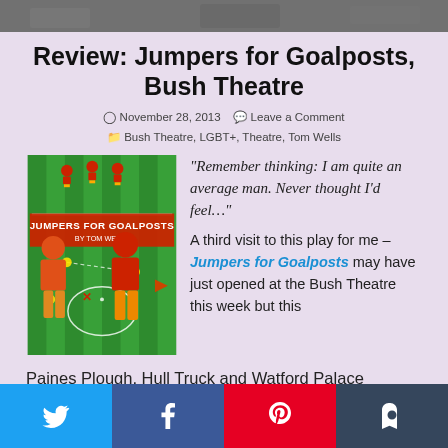[Figure (photo): Top cropped photo of audience or theatre scene in dark tones]
Review: Jumpers for Goalposts, Bush Theatre
November 28, 2013   Leave a Comment   Bush Theatre, LGBT+, Theatre, Tom Wells
[Figure (illustration): Jumpers for Goalposts play poster: two figures in orange on a green football pitch background, Subbuteo-style figurines at top, title text 'JUMPERS FOR GOALPOSTS BY TOM WELLS']
“Remember thinking: I am quite an average man. Never thought I’d feel…”
A third visit to this play for me – Jumpers for Goalposts may have just opened at the Bush Theatre this week but this Paines Plough, Hull Truck and Watford Palace